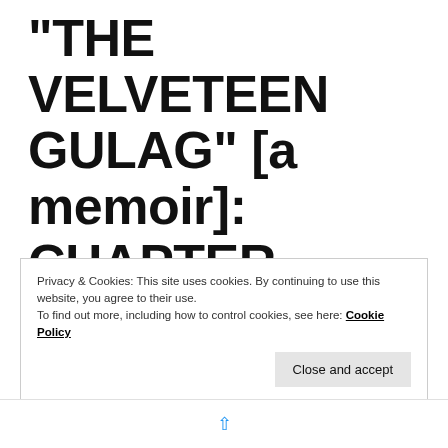“THE VELVETEEN GULAG” [a memoir]: CHAPTER 13:THE GIRL ON THE MEXICAN ASHTRAY
Privacy & Cookies: This site uses cookies. By continuing to use this website, you agree to their use.
To find out more, including how to control cookies, see here: Cookie Policy
Close and accept